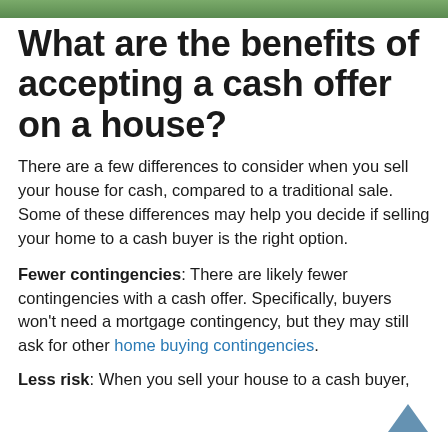[Figure (photo): Green foliage/garden photo strip at top of page]
What are the benefits of accepting a cash offer on a house?
There are a few differences to consider when you sell your house for cash, compared to a traditional sale. Some of these differences may help you decide if selling your home to a cash buyer is the right option.
Fewer contingencies: There are likely fewer contingencies with a cash offer. Specifically, buyers won't need a mortgage contingency, but they may still ask for other home buying contingencies.
Less risk: When you sell your house to a cash buyer,